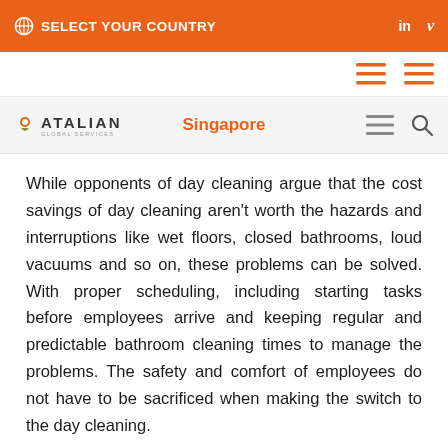SELECT YOUR COUNTRY
While opponents of day cleaning argue that the cost savings of day cleaning aren't worth the hazards and interruptions like wet floors, closed bathrooms, loud vacuums and so on, these problems can be solved. With proper scheduling, including starting tasks before employees arrive and keeping regular and predictable bathroom cleaning times to manage the problems. The safety and comfort of employees do not have to be sacrificed when making the switch to the day cleaning.
When a daytime cleaning routine is executed properly, most employees report that they feel as though the